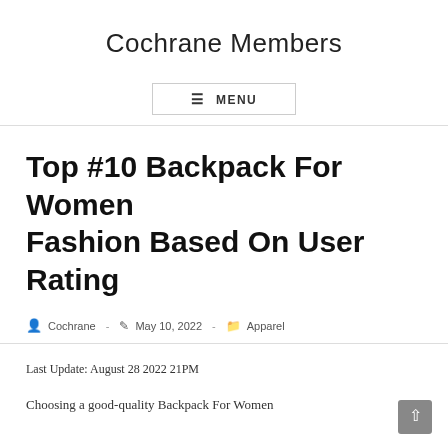Cochrane Members
☰ MENU
Top #10 Backpack For Women Fashion Based On User Rating
Cochrane  -  May 10, 2022  -  Apparel
Last Update: August 28 2022 21PM
Choosing a good-quality Backpack For Women